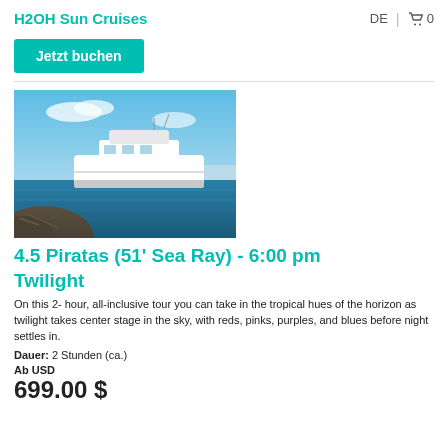H2OH Sun Cruises
Jetzt buchen
[Figure (photo): Yacht/motorboat on calm blue water near a marina, photographed from low angle with rocks in foreground and blue sky above.]
4.5 Piratas (51' Sea Ray) - 6:00 pm Twilight
On this 2- hour, all-inclusive tour you can take in the tropical hues of the horizon as twilight takes center stage in the sky, with reds, pinks, purples, and blues before night settles in.
Dauer: 2 Stunden (ca.)
Ab USD
699.00 $